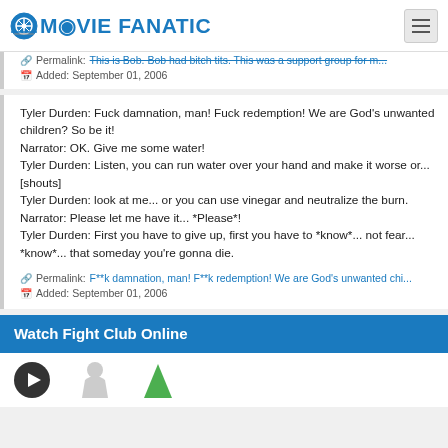MOVIE FANATIC
Permalink: This is Bob. Bob had bitch tits. This was a support group for m...
Added: September 01, 2006
Tyler Durden: Fuck damnation, man! Fuck redemption! We are God's unwanted children? So be it!
Narrator: OK. Give me some water!
Tyler Durden: Listen, you can run water over your hand and make it worse or...
[shouts]
Tyler Durden: look at me... or you can use vinegar and neutralize the burn.
Narrator: Please let me have it... *Please*!
Tyler Durden: First you have to give up, first you have to *know*... not fear... *know*... that someday you're gonna die.
Permalink: F**k damnation, man! F**k redemption! We are God's unwanted chi...
Added: September 01, 2006
Watch Fight Club Online